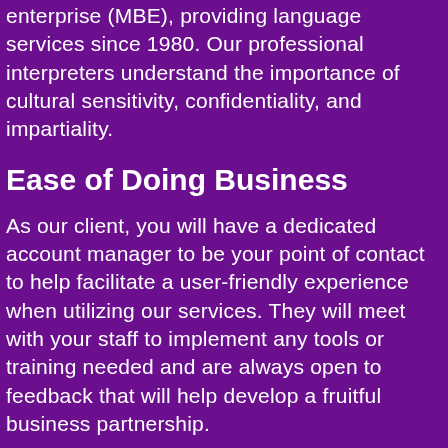enterprise (MBE), providing language services since 1980. Our professional interpreters understand the importance of cultural sensitivity, confidentiality, and impartiality.
Ease of Doing Business
As our client, you will have a dedicated account manager to be your point of contact to help facilitate a user-friendly experience when utilizing our services. They will meet with your staff to implement any tools or training needed and are always open to feedback that will help develop a fruitful business partnership.
Response to Urgent Situations
We understand the importance of being responsive in urgent situations that so often occur in Mental Health and Addiction facilities. With On-Demand VRI and OPI you are always